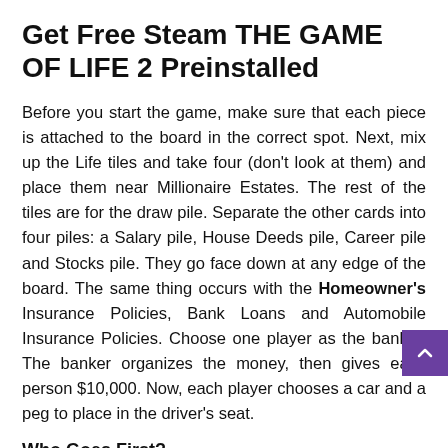Get Free Steam THE GAME OF LIFE 2 Preinstalled
Before you start the game, make sure that each piece is attached to the board in the correct spot. Next, mix up the Life tiles and take four (don't look at them) and place them near Millionaire Estates. The rest of the tiles are for the draw pile. Separate the other cards into four piles: a Salary pile, House Deeds pile, Career pile and Stocks pile. They go face down at any edge of the board. The same thing occurs with the Homeowner's Insurance Policies, Bank Loans and Automobile Insurance Policies. Choose one player as the banker. The banker organizes the money, then gives each person $10,000. Now, each player chooses a car and a peg to place in the driver's seat.
Who Goes First?